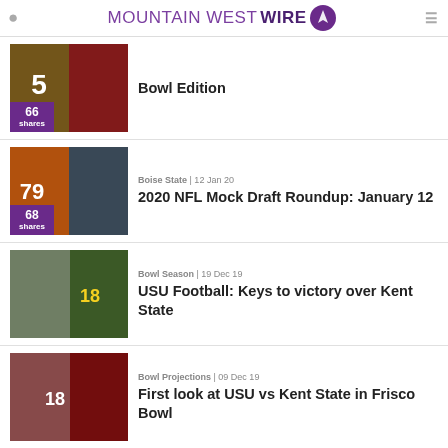Mountain West Wire
[Figure (photo): Football players collage - Bowl Edition article thumbnail with 66 shares badge]
Bowl Edition
[Figure (photo): Football players collage - 2020 NFL Mock Draft article thumbnail with 68 shares badge]
Boise State | 12 Jan 20
2020 NFL Mock Draft Roundup: January 12
[Figure (photo): Football game action - USU vs Kent State article thumbnail]
Bowl Season | 19 Dec 19
USU Football: Keys to victory over Kent State
[Figure (photo): Football player - First look at USU vs Kent State article thumbnail]
Bowl Projections | 09 Dec 19
First look at USU vs Kent State in Frisco Bowl